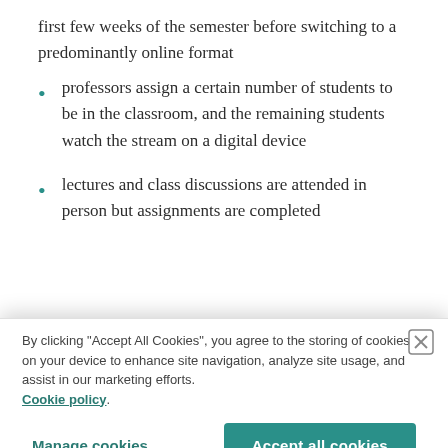first few weeks of the semester before switching to a predominantly online format
professors assign a certain number of students to be in the classroom, and the remaining students watch the stream on a digital device
lectures and class discussions are attended in person but assignments are completed
By clicking “Accept All Cookies”, you agree to the storing of cookies on your device to enhance site navigation, analyze site usage, and assist in our marketing efforts. Cookie policy.
determined that “hybrid courses produced better